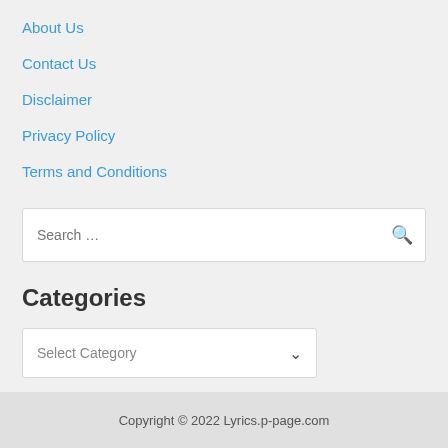About Us
Contact Us
Disclaimer
Privacy Policy
Terms and Conditions
Search ...
Categories
Select Category
Copyright © 2022 Lyrics.p-page.com